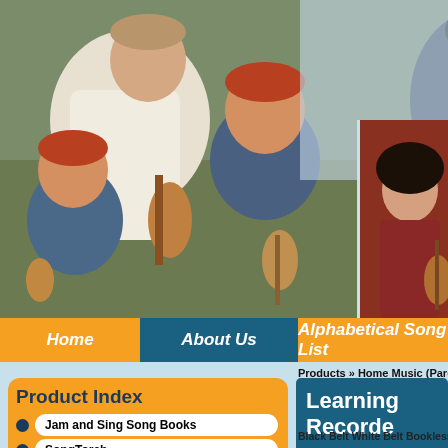[Figure (photo): Family with two young children playing guitars and ukuleles outdoors on grass, with a music illustration overlay and a small photo of a girl playing guitar]
Home   About Us   Alphabetical Song List
Products » Home Music (Parents)
Product Index
Jam and Sing Song Books
SongTorch
KidsInKey Choir Backings
Music Programmes
Recorder
Ukulele
Other Brands
Learning Recorde
These apps and products allow you recorder songs at home that would at school.
Black Belt White Belt Bookless A